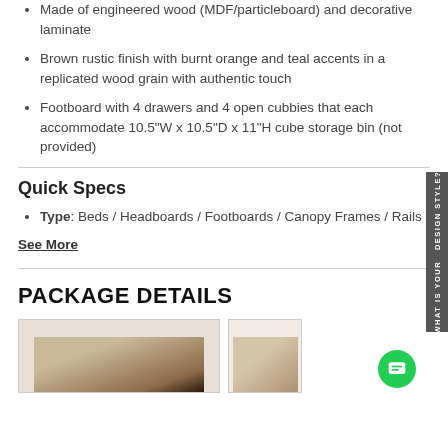Made of engineered wood (MDF/particleboard) and decorative laminate
Brown rustic finish with burnt orange and teal accents in a replicated wood grain with authentic touch
Footboard with 4 drawers and 4 open cubbies that each accommodate 10.5"W x 10.5"D x 11"H cube storage bin (not provided)
Quick Specs
Type: Beds / Headboards / Footboards / Canopy Frames / Rails
See More
PACKAGE DETAILS
[Figure (photo): Product image of a bed footboard with storage drawers in brown rustic finish]
[Figure (photo): Partial product image of a bed component in light wood finish]